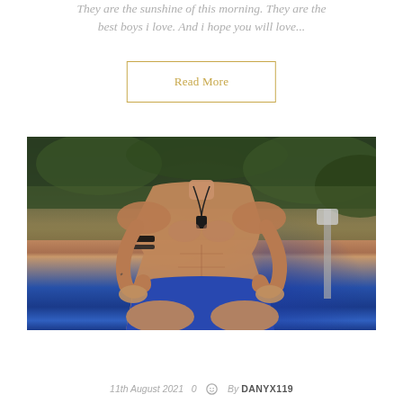They are the sunshine of this morning. They are the best boys i love. And i hope you will love...
Read More
[Figure (photo): A shirtless young man with arm band tattoo and necklace pendant, wearing blue shorts, kneeling outdoors with green foliage background]
11th August 2021   0   By DANYX119